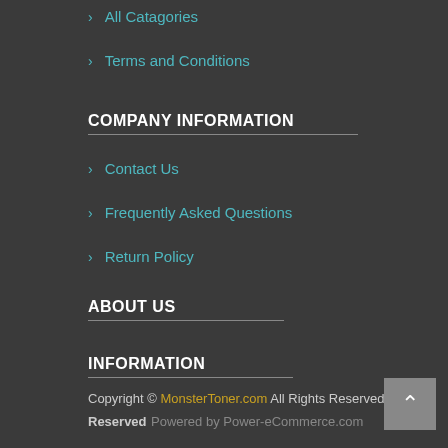> All Catagories
> Terms and Conditions
COMPANY INFORMATION
> Contact Us
> Frequently Asked Questions
> Return Policy
ABOUT US
INFORMATION
Copyright © MonsterToner.com All Rights Reserved  Powered by Power-eCommerce.com